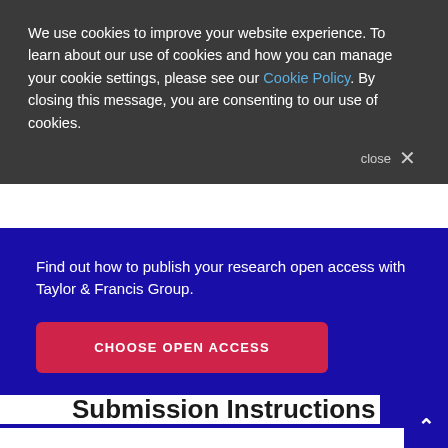We use cookies to improve your website experience. To learn about our use of cookies and how you can manage your cookie settings, please see our Cookie Policy. By closing this message, you are consenting to our use of cookies.
close ×
Find out how to publish your research open access with Taylor & Francis Group.
CHOOSE OPEN ACCESS
Submission Instructions